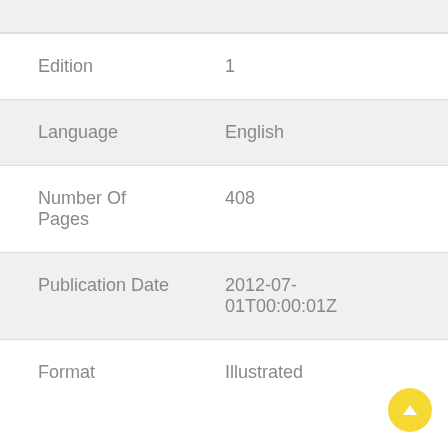| Field | Value |
| --- | --- |
| Edition | 1 |
| Language | English |
| Number Of Pages | 408 |
| Publication Date | 2012-07-01T00:00:01Z |
| Format | Illustrated |